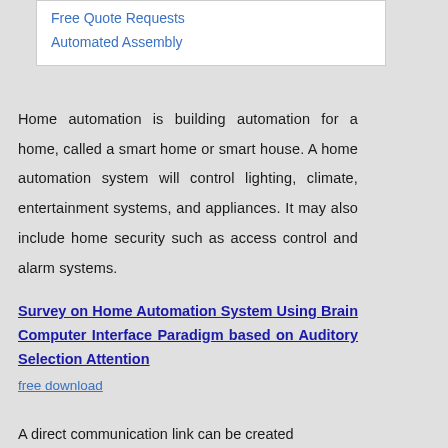Free Quote Requests
Automated Assembly
Home automation is building automation for a home, called a smart home or smart house. A home automation system will control lighting, climate, entertainment systems, and appliances. It may also include home security such as access control and alarm systems.
Survey on Home Automation System Using Brain Computer Interface Paradigm based on Auditory Selection Attention
free download
A direct communication link can be created